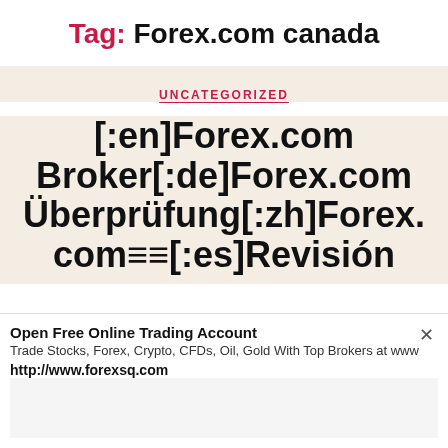Tag: Forex.com canada
UNCATEGORIZED
[:en]Forex.com Broker[:de]Forex.com Überprüfung[:zh]Forex.com≡≡[:es]Revisión
Open Free Online Trading Account
Trade Stocks, Forex, Crypto, CFDs, Oil, Gold With Top Brokers at www
http://www.forexsq.com